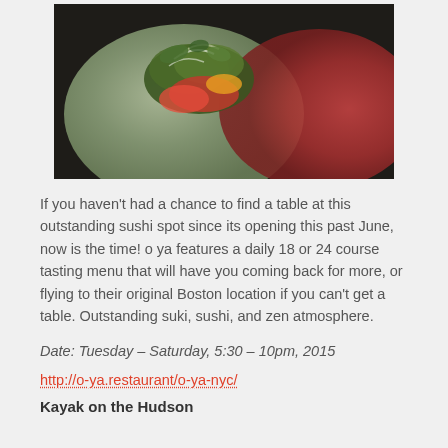[Figure (photo): Close-up overhead photo of a sushi or taco dish with colorful ingredients including greens, red vegetables, and garnishes on a dark plate]
If you haven't had a chance to find a table at this outstanding sushi spot since its opening this past June, now is the time! o ya features a daily 18 or 24 course tasting menu that will have you coming back for more, or flying to their original Boston location if you can't get a table. Outstanding suki, sushi, and zen atmosphere.
Date: Tuesday – Saturday, 5:30 – 10pm, 2015
http://o-ya.restaurant/o-ya-nyc/
Kayak on the Hudson